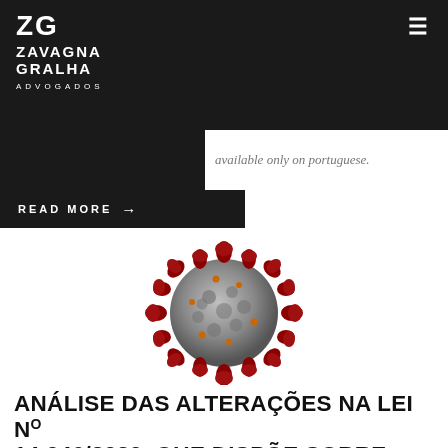ZG ZAVAGNA GRALHA ADVOGADOS
available only on portuguese.
READ MORE →
[Figure (illustration): Close-up 3D illustration of a coronavirus (COVID-19) particle, showing the spherical grey body with red spike proteins and orange/yellow small surface features.]
ANÁLISE DAS ALTERAÇÕES NA LEI Nº 14.046/2020, QUE DISPÕE SOBRE